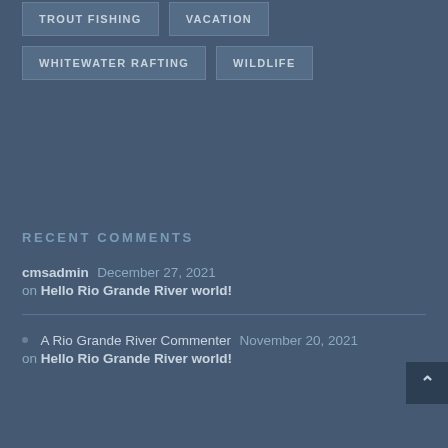TROUT FISHING
VACATION
WHITEWATER RAFTING
WILDLIFE
RECENT COMMENTS
cmsadmin December 27, 2021 on Hello Rio Grande River world!
A Rio Grande River Commenter November 20, 2021 on Hello Rio Grande River world!